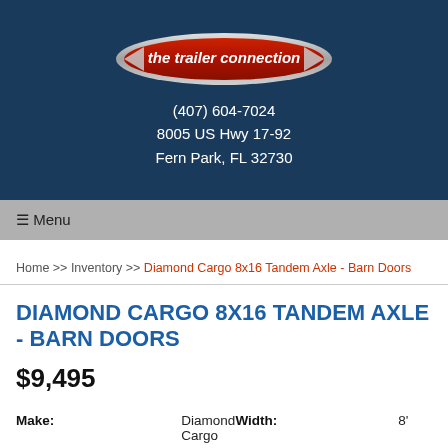[Figure (logo): The Trailer Connection logo — red oval with white italic text 'the trailer connection' and silver metallic side accents, on dark blue background]
(407) 604-7024
8005 US Hwy 17-92
Fern Park, FL 32730
☰ Menu
Home >> Inventory >> Diamond Cargo 8x16 Tandem Axle - Barn Doors
DIAMOND CARGO 8X16 TANDEM AXLE - BARN DOORS
$9,495
| Make: | Diamond Cargo | Width: | 8' |
| Model: | 8X16TA-1 | Length: | 16' |
| New/Used: | New | Capacity: | 3,990 lbs |